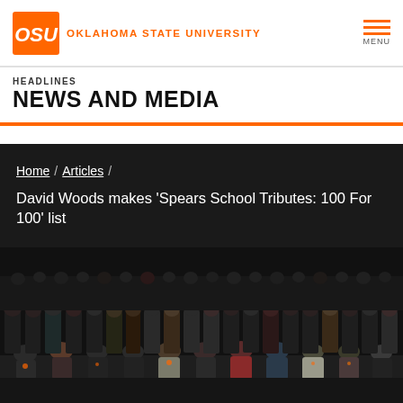Oklahoma State University
HEADLINES
NEWS AND MEDIA
Home / Articles /
David Woods makes 'Spears School Tributes: 100 For 100' list
[Figure (photo): Large group photo of approximately 80 formally dressed individuals posed in rows for a group portrait at what appears to be an Oklahoma State University business school event. People are wearing suits and formal attire, many with orange accessories.]